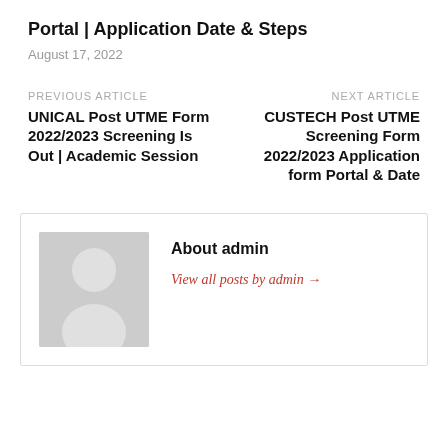Portal | Application Date & Steps
August 17, 2022
PREVIOUS ARTICLE
UNICAL Post UTME Form 2022/2023 Screening Is Out | Academic Session
NEXT ARTICLE
CUSTECH Post UTME Screening Form 2022/2023 Application form Portal & Date
About admin
View all posts by admin →